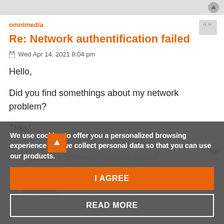omnimedia
Re: Network authentification failed
Wed Apr 14, 2021 8:04 pm
Hello,

Did you find somethings about my network problem?

Thks!
We use cookies to offer you a personalized browsing experience and we collect personal data so that you can use our products.
I AGREE
READ MORE